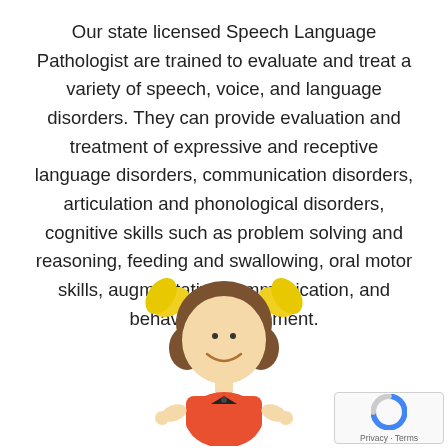Our state licensed Speech Language Pathologist are trained to evaluate and treat a variety of speech, voice, and language disorders. They can provide evaluation and treatment of expressive and receptive language disorders, communication disorders, articulation and phonological disorders, cognitive skills such as problem solving and reasoning, feeding and swallowing, oral motor skills, augmentative communication, and behavior management.
[Figure (illustration): Cartoon illustration of a young girl with brown hair, yellow hair accessories/bows, wearing a red/orange dress with a black bow tie, with arms slightly outstretched, depicted in a simple cute cartoon style.]